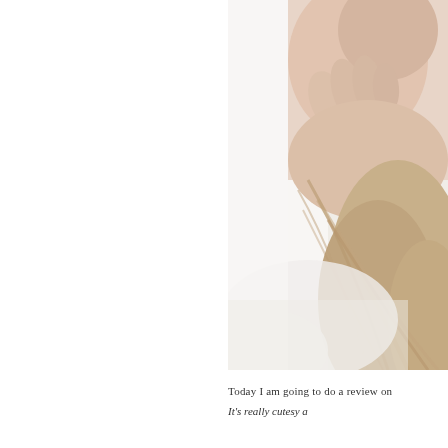[Figure (photo): Close-up photo of a person lying down, with blonde hair spread out and a hand touching their neck/hair area, on a white background]
Today I am going to do a review on
It's really cutesy a